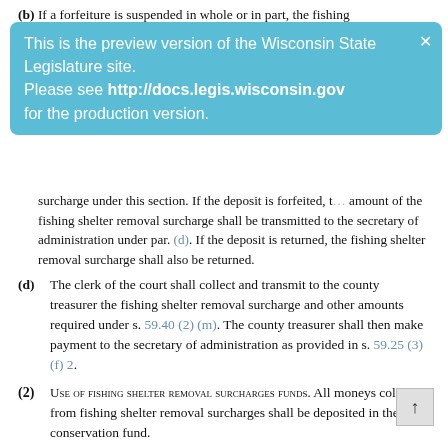(b) If a forfeiture is suspended in whole or in part, the fishing
[Figure (screenshot): Preview banner overlay: 'This is the preview version of the Wisconsin State Legislature site. Please see http://docs.legis.wisconsin.gov for the production version.']
surcharge under this section. If the deposit is forfeited, the amount of the fishing shelter removal surcharge shall be transmitted to the secretary of administration under par. (d). If the deposit is returned, the fishing shelter removal surcharge shall also be returned.
(d) The clerk of the court shall collect and transmit to the county treasurer the fishing shelter removal surcharge and other amounts required under s. 59.40 (2) (m). The county treasurer shall then make payment to the secretary of administration as provided in s. 59.25 (3) (f) 2.
(2) Use of fishing shelter removal surcharges funds. All moneys collected from fishing shelter removal surcharges shall be deposited in the conservation fund.
History: 1991 a. 39; 1995 a. 201; 1997 a. 248 s. 726; Stats. 1997 s. 29.985; 2003 a. 33, 139, 326.
29.987    Natural resources surcharge.
(1) Levy of natural resources surcharge.
(a) If a court imposes a fine or forfeiture for a violation of a